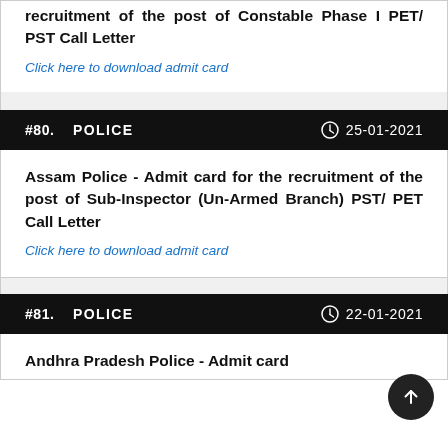recruitment of the post of Constable Phase I PET/ PST Call Letter
Click here to download admit card
#80.   POLICE   25-01-2021
Assam Police - Admit card for the recruitment of the post of Sub-Inspector (Un-Armed Branch) PST/ PET Call Letter
Click here to download admit card
#81.   POLICE   22-01-2021
Andhra Pradesh Police - Admit card